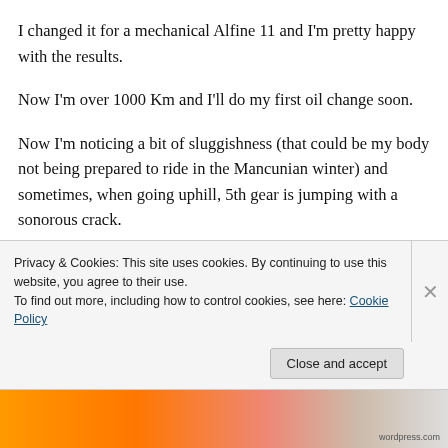I changed it for a mechanical Alfine 11 and I'm pretty happy with the results.
Now I'm over 1000 Km and I'll do my first oil change soon.
Now I'm noticing a bit of sluggishness (that could be my body not being prepared to ride in the Mancunian winter) and sometimes, when going uphill, 5th gear is jumping with a sonorous crack.
I hope that with the oil change those problems
Privacy & Cookies: This site uses cookies. By continuing to use this website, you agree to their use.
To find out more, including how to control cookies, see here: Cookie Policy
Close and accept